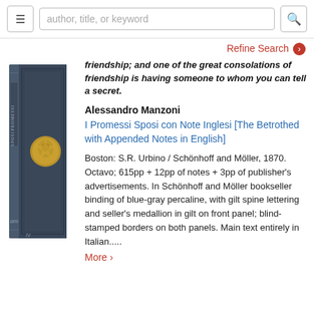author, title, or keyword
Refine Search
[Figure (photo): A dark blue-gray hardcover book standing upright showing its spine and front cover with a gilt medallion on the front panel.]
friendship; and one of the great consolations of friendship is having someone to whom you can tell a secret.
Alessandro Manzoni
I Promessi Sposi con Note Inglesi [The Betrothed with Appended Notes in English]
Boston: S.R. Urbino / Schönhoff and Möller, 1870. Octavo; 615pp + 12pp of notes + 3pp of publisher's advertisements. In Schönhoff and Möller bookseller binding of blue-gray percaline, with gilt spine lettering and seller's medallion in gilt on front panel; blind-stamped borders on both panels. Main text entirely in Italian.....
More >